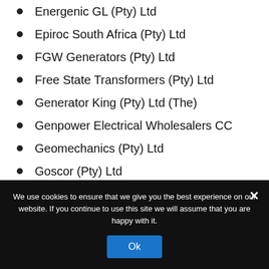Energenic GL (Pty) Ltd
Epiroc South Africa (Pty) Ltd
FGW Generators (Pty) Ltd
Free State Transformers (Pty) Ltd
Generator King (Pty) Ltd (The)
Genpower Electrical Wholesalers CC
Geomechanics (Pty) Ltd
Goscor (Pty) Ltd
Hitachi Energy South Africa (Pty) Ltd
Hoffmann Power (Pty) Ltd
We use cookies to ensure that we give you the best experience on our website. If you continue to use this site we will assume that you are happy with it.